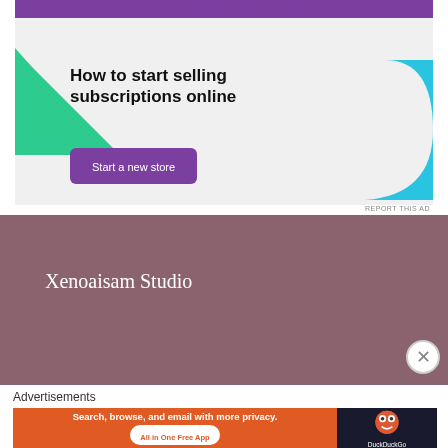[Figure (illustration): Advertisement banner with purple and teal decorative shapes and text 'How to start selling subscriptions online' with a purple 'Start a new store' button on a light gray background]
REPORT THIS AD
[Figure (illustration): Dark mauve/rose colored banner with white text 'Xenoaisam Studio']
Advertisements
[Figure (illustration): DuckDuckGo advertisement banner: orange section with white text 'Search, browse, and email with more privacy. All in One Free App' and dark section with DuckDuckGo duck logo and DuckDuckGo text]